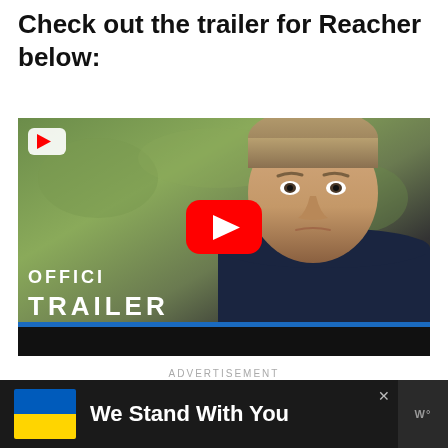Check out the trailer for Reacher below:
[Figure (screenshot): YouTube video thumbnail showing man outdoors with 'OFFICIAL TRAILER' text overlay and YouTube play button]
ADVERTISEMENT
[Figure (infographic): Advertisement banner with Ukrainian flag and text 'We Stand With You' on dark background with close button and logo]